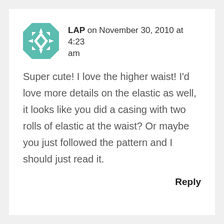[Figure (illustration): Teal/green quilt block avatar icon with geometric star/snowflake pattern]
LAP on November 30, 2010 at 4:23 am
Super cute! I love the higher waist! I'd love more details on the elastic as well, it looks like you did a casing with two rolls of elastic at the waist? Or maybe you just followed the pattern and I should just read it.
Reply